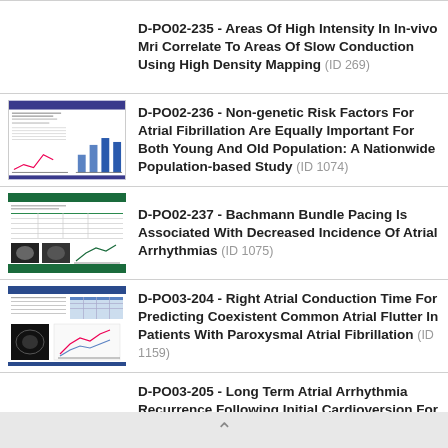D-PO02-235 - Areas Of High Intensity In In-vivo Mri Correlate To Areas Of Slow Conduction Using High Density Mapping (ID 269)
D-PO02-236 - Non-genetic Risk Factors For Atrial Fibrillation Are Equally Important For Both Young And Old Population: A Nationwide Population-based Study (ID 1074)
D-PO02-237 - Bachmann Bundle Pacing Is Associated With Decreased Incidence Of Atrial Arrhythmias (ID 1075)
D-PO03-204 - Right Atrial Conduction Time For Predicting Coexistent Common Atrial Flutter In Patients With Paroxysmal Atrial Fibrillation (ID 1159)
D-PO03-205 - Long Term Atrial Arrhythmia Recurrence Following Initial Cardioversion For Atrial Flutter Compared To Atrial Fibrillation (ID 361)
^